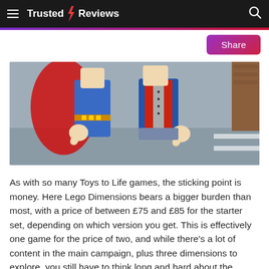Trusted Reviews
[Figure (photo): Close-up of two LEGO minifigures — one in a red cape and blue suit (Superman-like), the other in a red and blue jacket (Marty McFly-like) — from a LEGO Dimensions video game screenshot.]
As with so many Toys to Life games, the sticking point is money. Here Lego Dimensions bears a bigger burden than most, with a price of between £75 and £85 for the starter set, depending on which version you get. This is effectively one game for the price of two, and while there's a lot of content in the main campaign, plus three dimensions to explore, you still have to think long and hard about the value.